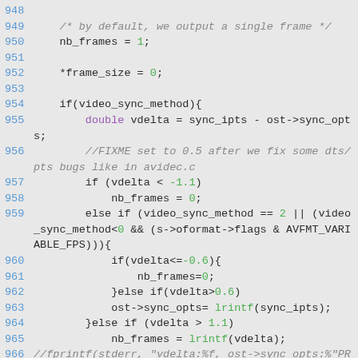Source code listing, lines 948-966, showing C code for video frame sync logic with comments, conditionals, and function calls.